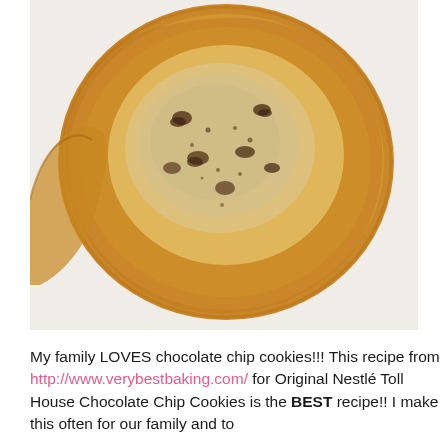[Figure (photo): Close-up overhead photo of a large flat chocolate chip cookie on white parchment paper. The cookie is golden-brown and crispy at the edges with a pale, lightly textured center showing embedded chocolate chips.]
My family LOVES chocolate chip cookies!!! This recipe from http://www.verybestbaking.com/ for Original Nestlé Toll House Chocolate Chip Cookies is the BEST recipe!! I make this often for our family and to